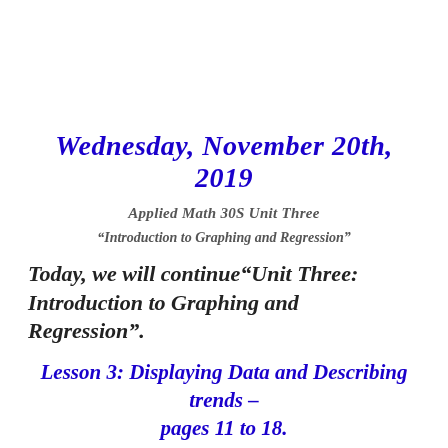Wednesday, November 20th, 2019
Applied Math 30S Unit Three
“Introduction to Graphing and Regression”
Today, we will continue“Unit Three: Introduction to Graphing and Regression”.
Lesson 3: Displaying Data and Describing trends – pages 11 to 18.